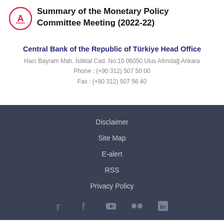Summary of the Monetary Policy Committee Meeting (2022-22)
Central Bank of the Republic of Türkiye Head Office
Hacı Bayram Mah. İstiklal Cad. No:10 06050 Ulus Altındağ Ankara
Phone : (+90 312) 507 50 00
Fax : (+90 312) 507 56 40
Disclaimer
Site Map
E-alert
RSS
Privacy Policy